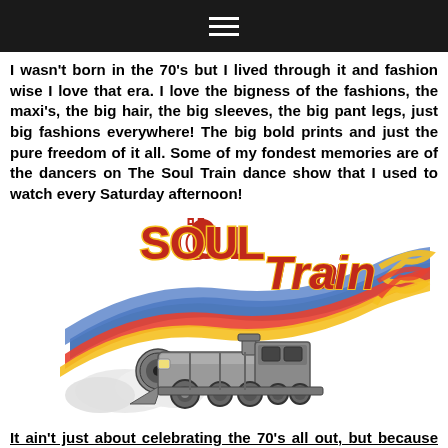≡
[Figure (photo): Partial photo strip at top of page showing textured fabric or pattern]
I wasn't born in the 70's but I lived through it and fashion wise I love that era. I love the bigness of the fashions, the maxi's, the big hair, the big sleeves, the big pant legs, just big fashions everywhere! The big bold prints and just the pure freedom of it all. Some of my fondest memories are of the dancers on The Soul Train dance show that I used to watch every Saturday afternoon!
[Figure (logo): Soul Train logo — colorful retro illustration of a steam locomotive with flowing rainbow-colored swooshes and the text 'SOUL TRAIN' in large red lettering with yellow outline]
It ain't just about celebrating the 70's all out, but because the old...